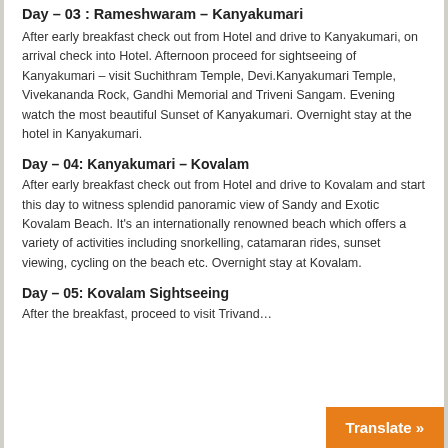Day – 03: Rameshwaram – Kanyakumari
After early breakfast check out from Hotel and drive to Kanyakumari, on arrival check into Hotel. Afternoon proceed for sightseeing of Kanyakumari – visit Suchithram Temple, Devi.Kanyakumari Temple, Vivekananda Rock, Gandhi Memorial and Triveni Sangam. Evening watch the most beautiful Sunset of Kanyakumari. Overnight stay at the hotel in Kanyakumari.
Day – 04: Kanyakumari – Kovalam
After early breakfast check out from Hotel and drive to Kovalam and start this day to witness splendid panoramic view of Sandy and Exotic Kovalam Beach. It's an internationally renowned beach which offers a variety of activities including snorkelling, catamaran rides, sunset viewing, cycling on the beach etc. Overnight stay at Kovalam.
Day – 05: Kovalam Sightseeing
After the breakfast, proceed to visit Trivand…